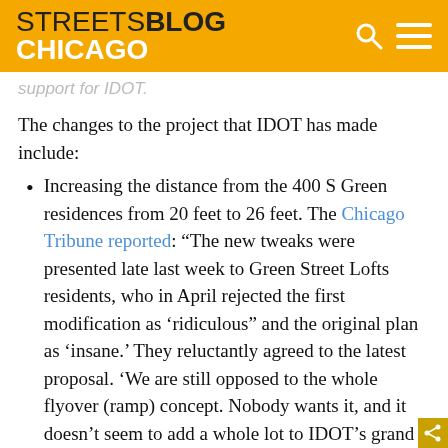STREETSBLOG CHICAGO
support for IDOT.
The changes to the project that IDOT has made include:
Increasing the distance from the 400 S Green residences from 20 feet to 26 feet. The Chicago Tribune reported: “The new tweaks were presented late last week to Green Street Lofts residents, who in April rejected the first modification as ‘ridiculous” and the original plan as ‘insane.’ They reluctantly agreed to the latest proposal. ‘We are still opposed to the whole flyover (ramp) concept. Nobody wants it, and it doesn’t seem to add a whole lot to IDOT’s grand master plan of alleviating congestion,” said